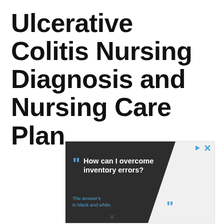Ulcerative Colitis Nursing Diagnosis and Nursing Care Plan
[Figure (other): Advertisement banner with dark angled background featuring the text 'How can I overcome inventory errors? The answer's in black and white.' with teal quotation marks and inventory/business theme.]
Reduce Errors